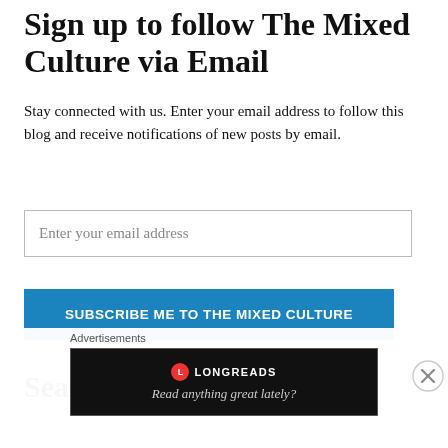Sign up to follow The Mixed Culture via Email
Stay connected with us. Enter your email address to follow this blog and receive notifications of new posts by email.
Enter your email address
SUBSCRIBE ME TO THE MIXED CULTURE
Search TMC
[Figure (other): Longreads advertisement banner with red circle logo, brand name LONGREADS, and tagline 'Read anything great lately?']